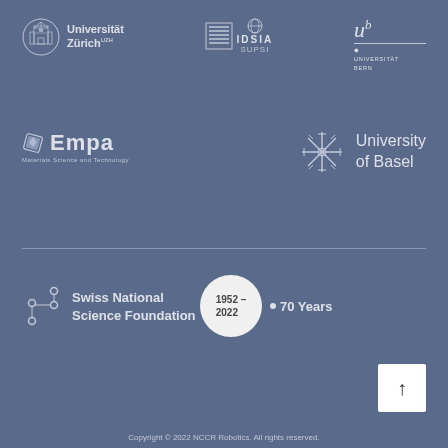[Figure (logo): Universität Zürich logo with circular cathedral icon and text]
[Figure (logo): IDSIA SUPSI logo with grey box and globe icon]
[Figure (logo): Universität Bern logo with stylized U and b superscript]
[Figure (logo): Empa Materials Science and Technology logo]
[Figure (logo): University of Basel logo with snowflake/asterisk symbol]
[Figure (logo): Swiss National Science Foundation logo with network dots]
[Figure (infographic): 1952-2022 circle badge with arrow pointing to 70 Years text]
[Figure (other): White square button with upward arrow for scroll to top]
Copyright © 2022 NCCR Robotics. All rights reserved.